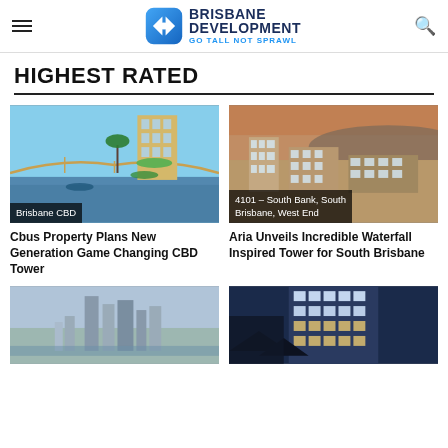Brisbane Development — Go Tall Not Sprawl
HIGHEST RATED
[Figure (photo): Architectural render of a tall residential tower with green terraces beside the Brisbane River with the Story Bridge in the background. Label: Brisbane CBD]
Cbus Property Plans New Generation Game Changing CBD Tower
[Figure (photo): Aerial architectural render of a waterfall-inspired tower development in South Brisbane/West End. Label: 4101 – South Bank, South Brisbane, West End]
Aria Unveils Incredible Waterfall Inspired Tower for South Brisbane
[Figure (photo): Aerial photo of Brisbane city skyline with tall skyscrapers and river in background.]
[Figure (photo): Close-up architectural render of a contemporary tower with glass and terracotta cladding at dusk.]